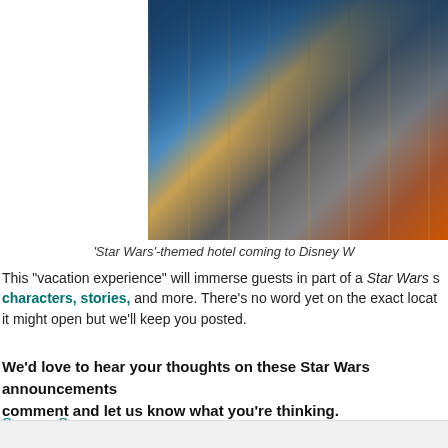[Figure (photo): Concept art of Star Wars themed hotel interior showing families in a spaceship-like setting with orange accents and futuristic decor]
'Star Wars'-themed hotel coming to Disney W
This "vacation experience" will immerse guests in part of a Star Wars s characters, stories, and more. There's no word yet on the exact locat it might open but we'll keep you posted.
We'd love to hear your thoughts on these Star Wars announcemen comment and let us know what you're thinking.
Source, Source
In: D23 Expo | Disney Parks and Resorts | Disney World | Disney's Hollywood Stud hotel | Star Wars Land | Star Wars: Galaxy's Edge |
Kristen K. wrote on Wed, 07/26/2017 - 15:41:
This hotel sounds pretty interesting, I'm looking forward to se